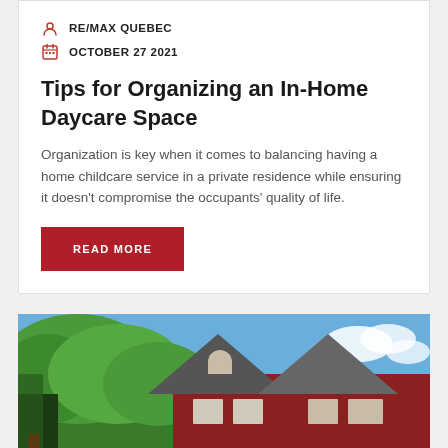RE/MAX QUEBEC
OCTOBER 27 2021
Tips for Organizing an In-Home Daycare Space
Organization is key when it comes to balancing having a home childcare service in a private residence while ensuring it doesn’t compromise the occupants’ quality of life.
READ MORE
[Figure (photo): Exterior photo of a red house with green trees and blue sky]